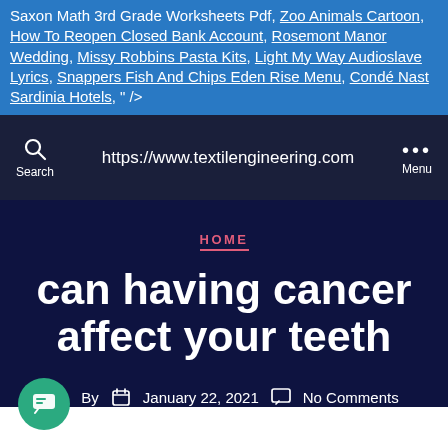Saxon Math 3rd Grade Worksheets Pdf, Zoo Animals Cartoon, How To Reopen Closed Bank Account, Rosemont Manor Wedding, Missy Robbins Pasta Kits, Light My Way Audioslave Lyrics, Snappers Fish And Chips Eden Rise Menu, Condé Nast Sardinia Hotels, " />
https://www.textilengineering.com
HOME
can having cancer affect your teeth
By  January 22, 2021  No Comments